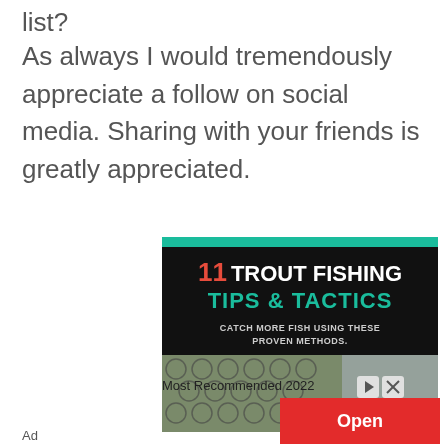list?
As always I would tremendously appreciate a follow on social media. Sharing with your friends is greatly appreciated.
[Figure (illustration): Advertisement banner for '11 Trout Fishing Tips & Tactics - Catch More Fish Using These Proven Methods' with a close-up image of a trout's scales, a teal header bar, and a red 'Open' button with 'Most Recommended 2022' text and an 'Ad' label.]